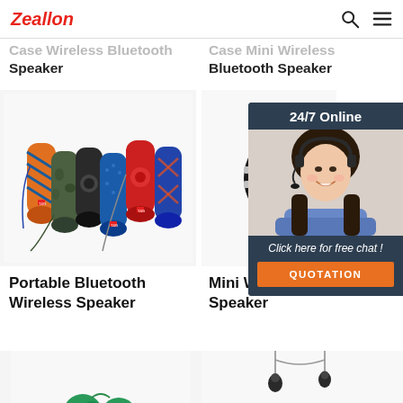Zeallon
Case Wireless Bluetooth Speaker
Case Mini Wireless Bluetooth Speaker
[Figure (photo): Multiple colorful portable cylindrical Bluetooth speakers in various patterns (orange stripes, camouflage, black, blue, red, blue patterned) arranged in a group]
[Figure (photo): Black mini wireless Bluetooth speaker (cylindrical shape with silver band) shown on white background]
Portable Bluetooth Wireless Speaker
Mini Wireless Bluetooth Speaker
[Figure (photo): Chat widget with smiling woman wearing headset, '24/7 Online' banner, 'Click here for free chat!' text, and orange QUOTATION button]
[Figure (photo): Partial view of green earbuds at bottom left]
[Figure (photo): Partial view of in-ear headphones at bottom right]